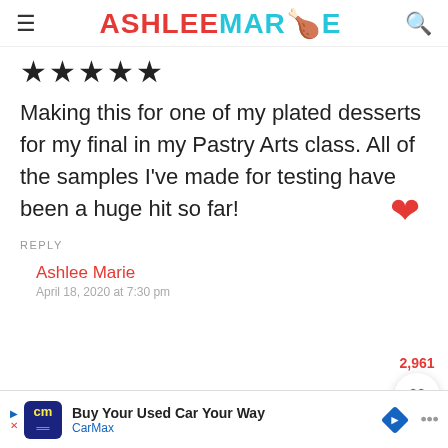≡  ASHLEE MARIE  🔍
★★★★★
Making this for one of my plated desserts for my final in my Pastry Arts class. All of the samples I've made for testing have been a huge hit so far!
REPLY
2,961
Ashlee Marie
April 18, 2020 at 7:30 pm
[Figure (screenshot): CarMax advertisement banner: 'Buy Your Used Car Way — CarMax' with logo and navigation arrow icons]